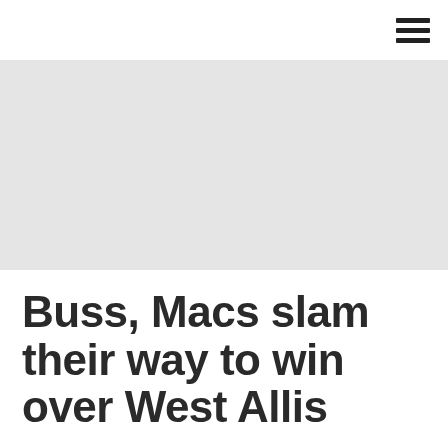[Figure (photo): Light gray banner/placeholder image area]
Buss, Macs slam their way to win over West Allis
May 16, 2015